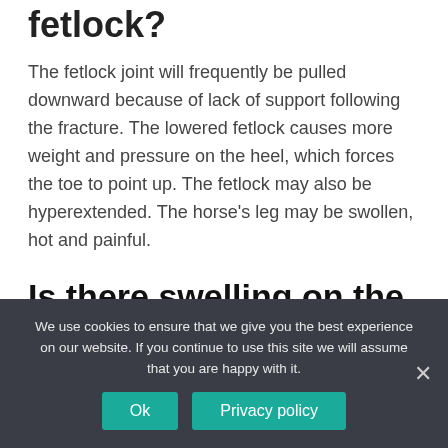fetlock?
The fetlock joint will frequently be pulled downward because of lack of support following the fracture. The lowered fetlock causes more weight and pressure on the heel, which forces the toe to point up. The fetlock may also be hyperextended. The horse's leg may be swollen, hot and painful.
Is there swelling on the outside of the fetlock?
We use cookies to ensure that we give you the best experience on our website. If you continue to use this site we will assume that you are happy with it.